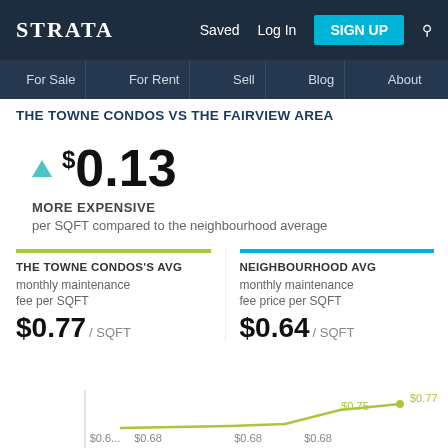STRATA | Saved | Log In | SIGN UP
For Sale | For Rent | Sell | Blog | About
THE TOWNE CONDOS VS THE FAIRVIEW AREA
$0.13 MORE EXPENSIVE per SQFT compared to the neighbourhood average
THE TOWNE CONDOS'S AVG monthly maintenance fee per SQFT $0.77 / SQFT
NEIGHBOURHOOD AVG monthly maintenance fee price per SQFT $0.64 / SQFT
[Figure (line-chart): Partial line chart showing maintenance fee history with values $0.75 and $0.77 visible at top right, and axis labels $0.68 visible along bottom]